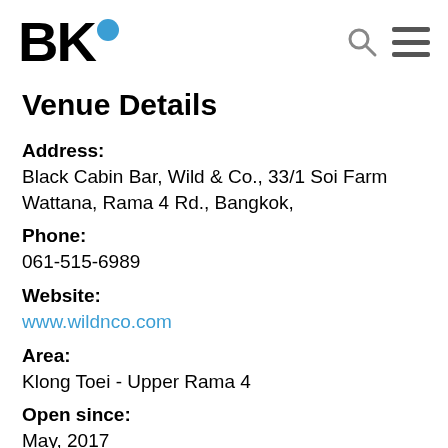BK•
Venue Details
Address: Black Cabin Bar, Wild & Co., 33/1 Soi Farm Wattana, Rama 4 Rd., Bangkok,
Phone: 061-515-6989
Website: www.wildnco.com
Area: Klong Toei - Upper Rama 4
Open since: May, 2017
Opening hours: